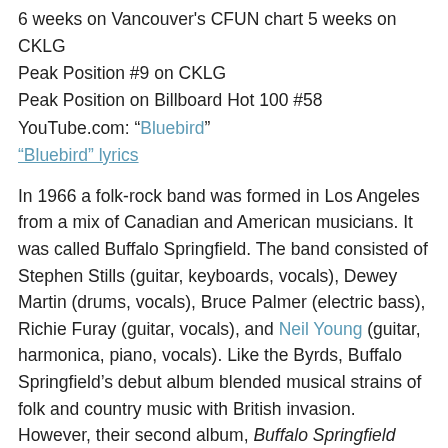6 weeks on Vancouver's CFUN chart 5 weeks on CKLG
Peak Position #9 on CKLG
Peak Position on Billboard Hot 100 #58
YouTube.com: “Bluebird”
“Bluebird” lyrics
In 1966 a folk-rock band was formed in Los Angeles from a mix of Canadian and American musicians. It was called Buffalo Springfield. The band consisted of Stephen Stills (guitar, keyboards, vocals), Dewey Martin (drums, vocals), Bruce Palmer (electric bass), Richie Furay (guitar, vocals), and Neil Young (guitar, harmonica, piano, vocals). Like the Byrds, Buffalo Springfield’s debut album blended musical strains of folk and country music with British invasion. However, their second album, Buffalo Springfield Again, showcased their shift into psychedelic rock.